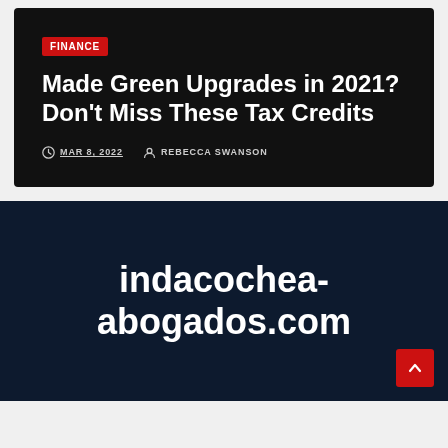FINANCE
Made Green Upgrades in 2021? Don't Miss These Tax Credits
MAR 8, 2022  REBECCA SWANSON
indacochea-abogados.com